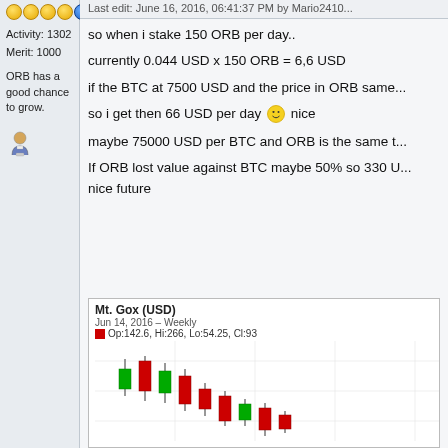Last edit: June 16, 2016, 06:41:37 PM by Mario2410...
Activity: 1302
Merit: 1000
ORB has a good chance to grow.
so when i stake 150 ORB per day..
currently 0.044 USD x 150 ORB = 6,6 USD
if the BTC at 7500 USD and the price in ORB same...
so i get then 66 USD per day 😊 nice
maybe 75000 USD per BTC and ORB is the same t...
If ORB lost value against BTC maybe 50% so 330 U... nice future
[Figure (continuous-plot): Mt. Gox (USD) candlestick chart, Jun 14, 2016 - Weekly. Op:142.6, Hi:266, Lo:54.25, Cl:93. Shows descending candlestick price action.]